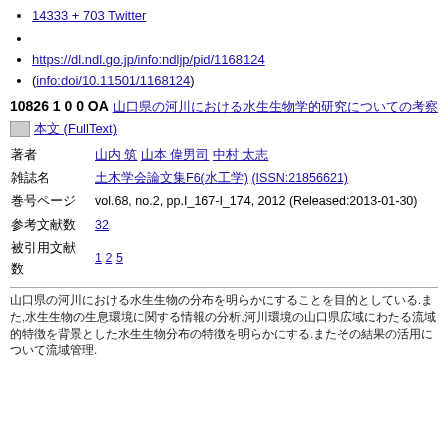14333 + 703 Twitter
https://dl.ndl.go.jp/info:ndljp/pid/1168124
(info:doi/10.11501/1168124)
10826 1 0 0 OA [Japanese title text]
[FullText icon] 本文 (FullText)
著者
[Author links]
雑誌名
[Journal link]
巻号ページ
vol.68, no.2, pp.I_167-I_174, 2012 (Released:2013-01-30)
参考文献数
32
被引用文献数
1 2 5
[Abstract text in Japanese]